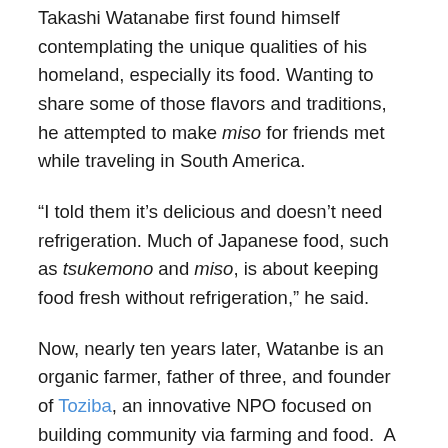Takashi Watanabe first found himself contemplating the unique qualities of his homeland, especially its food. Wanting to share some of those flavors and traditions, he attempted to make miso for friends met while traveling in South America.
“I told them it’s delicious and doesn’t need refrigeration. Much of Japanese food, such as tsukemono and miso, is about keeping food fresh without refrigeration,” he said.
Now, nearly ten years later, Watanbe is an organic farmer, father of three, and founder of Toziba, an innovative NPO focused on building community via farming and food. A self-described “former commuter,” he returned to Japan after a year of travel determined to create a place where people could connect with each other via work and learning while rediscovering their traditional food culture